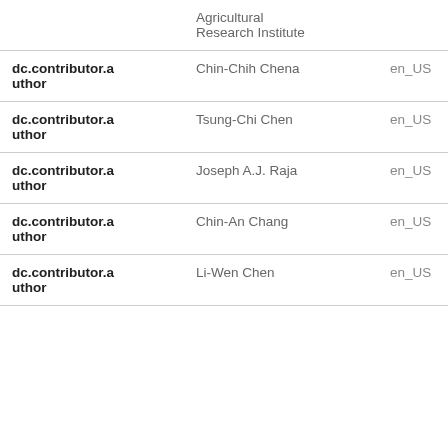| Field | Value | Language |
| --- | --- | --- |
|  | Agricultural Research Institute |  |
| dc.contributor.author | Chin-Chih Chena | en_US |
| dc.contributor.author | Tsung-Chi Chen | en_US |
| dc.contributor.author | Joseph A.J. Raja | en_US |
| dc.contributor.author | Chin-An Chang | en_US |
| dc.contributor.author | Li-Wen Chen | en_US |